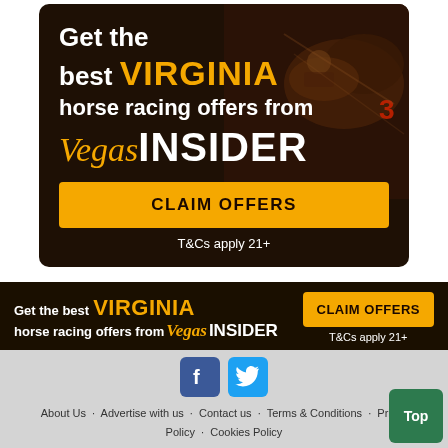[Figure (infographic): Top square ad banner for VegasInsider Virginia horse racing offers. Dark brown background with horse racing photo. Text: 'Get the best VIRGINIA horse racing offers from VegasINSIDER'. Yellow CLAIM OFFERS button. T&Cs apply 21+.]
[Figure (infographic): Horizontal banner ad for VegasInsider Virginia horse racing offers. Dark background. Text: 'Get the best VIRGINIA horse racing offers from VegasINSIDER'. Yellow CLAIM OFFERS button on right. T&Cs apply 21+.]
[Figure (infographic): Footer section with Facebook and Twitter social media icons, footer navigation links, and green Top button.]
About Us   Advertise with us   Contact us   Terms & Conditions   Privacy Policy   Cookies Policy